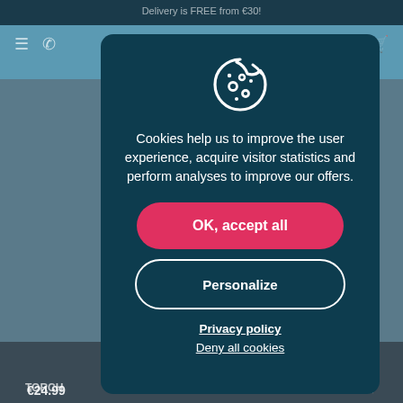[Figure (screenshot): Cookie consent modal overlay on a web shop page. The modal is a dark teal rounded rectangle containing a cookie icon, explanatory text, two buttons (OK accept all in red/pink, Personalize in outline style), and two links (Privacy policy, Deny all cookies). The background shows a blurred web shop interface with a top banner, navigation bar, and product listings.]
Cookies help us to improve the user experience, acquire visitor statistics and perform analyses to improve our offers.
OK, accept all
Personalize
Privacy policy
Deny all cookies